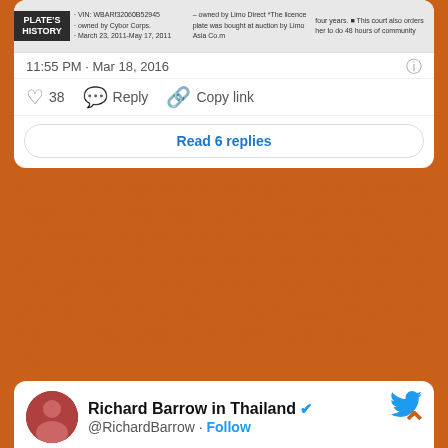[Figure (screenshot): Top portion of a tweet card showing a license plate history image strip with timestamp '11:55 PM · Mar 18, 2016', heart/reply/copy-link action icons with 38 likes, and a 'Read 6 replies' button.]
9. One of the hot topics during March was the so-called rich kids that seemed to get away with "murder". Lots of people were complaining on social media that there seems to be one law for ordinary folks and one rule for the rich. If you are poor you go to prison straight away. If you are rich or influential, your case could drag on for years.
[Figure (screenshot): Bottom tweet card showing Richard Barrow in Thailand profile (@RichardBarrow) with a Follow button, Twitter bird icon, and partial tweet text: 'Have you been to all of the "Six Thai...']